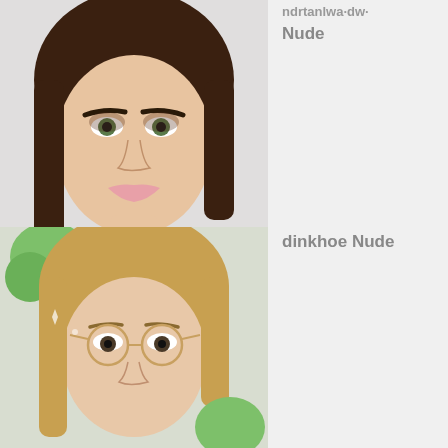[Figure (photo): Close-up portrait photo of a woman with dark brown hair, heavy eye makeup, and light pink lips, facing the camera.]
Nude
[Figure (photo): Close-up portrait photo of a young woman with blonde hair, wearing round wire-rimmed glasses, with green plush toy visible in background.]
dinkhoe Nude